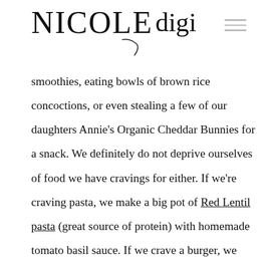NICOLE digi
smoothies, eating bowls of brown rice concoctions, or even stealing a few of our daughters Annie’s Organic Cheddar Bunnies for a snack. We definitely do not deprive ourselves of food we have cravings for either. If we’re craving pasta, we make a big pot of Red Lentil pasta (great source of protein) with homemade tomato basil sauce. If we crave a burger, we